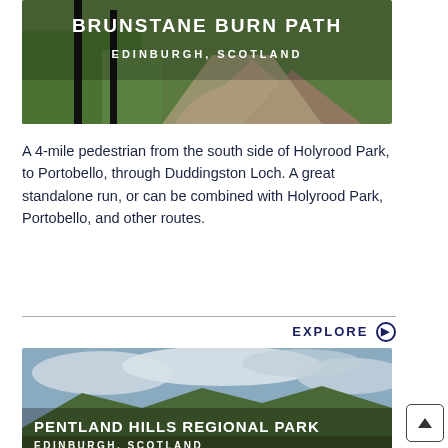[Figure (photo): Photo of a path with sign posts, greenery in background — Brunstane Burn Path, Edinburgh, Scotland]
BRUNSTANE BURN PATH
EDINBURGH, SCOTLAND
A 4-mile pedestrian from the south side of Holyrood Park, to Portobello, through Duddingston Loch. A great standalone run, or can be combined with Holyrood Park, Portobello, and other routes.
EXPLORE ⊙
[Figure (photo): Landscape photo of Pentland Hills Regional Park with hills and dramatic cloudy sky — Edinburgh, Scotland]
PENTLAND HILLS REGIONAL PARK
EDINBURGH, SCOTLAND